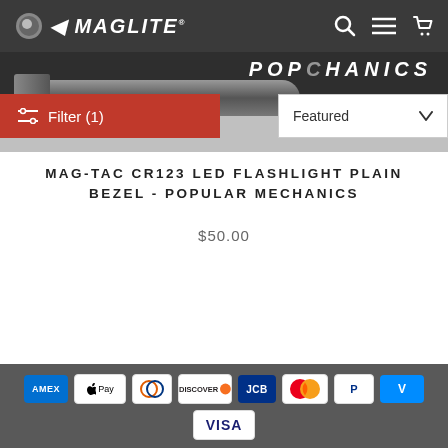MAGLITE
[Figure (screenshot): Product image of MAG-TAC CR123 LED flashlight with Popular Mechanics banner, filter button showing Filter (1) in red, and Featured sort dropdown]
Filter (1)
Featured
MAG-TAC CR123 LED FLASHLIGHT PLAIN BEZEL - POPULAR MECHANICS
$50.00
Payment methods: AMEX, Apple Pay, Diners, Discover, JCB, Mastercard, PayPal, Venmo, Visa